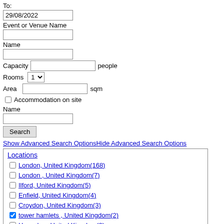To:
29/08/2022
Event or Venue Name
Name
Capacity  people
Rooms  1
Area  sqm
Accommodation on site
Name
Search
Show Advanced Search OptionsHide Advanced Search Options
Locations
London, United Kingdom(168)
London , United Kingdom(7)
Ilford, United Kingdom(5)
Enfield, United Kingdom(4)
Croydon, United Kingdom(3)
tower hamlets , United Kingdom(2) [checked]
Hounslow, United Kingdom(2)